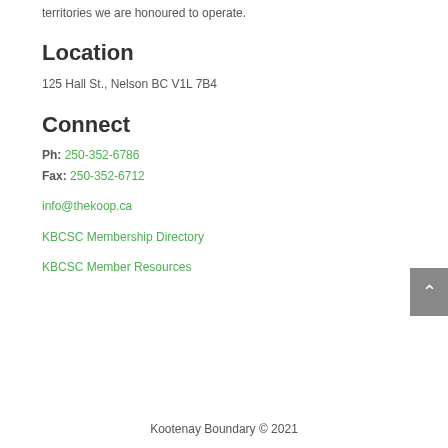territories we are honoured to operate.
Location
125 Hall St., Nelson BC V1L 7B4
Connect
Ph: 250-352-6786
Fax: 250-352-6712
info@thekoop.ca
KBCSC Membership Directory
KBCSC Member Resources
Kootenay Boundary © 2021